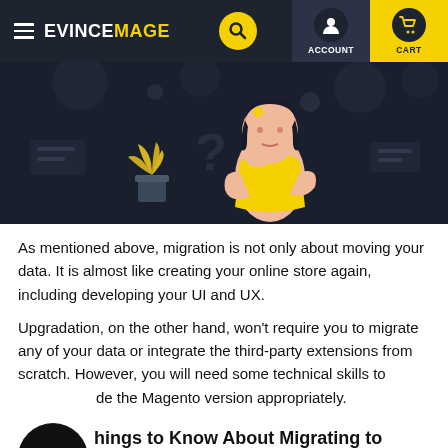EVINCEMAGE — ACCOUNT CART navigation bar
[Figure (illustration): Dark background hero banner with an illustrated woman in a yellow shirt thinking, surrounded by question marks and abstract shapes. A yellow potted plant is visible in the lower left.]
As mentioned above, migration is not only about moving your data. It is almost like creating your online store again, including developing your UI and UX.
Upgradation, on the other hand, won't require you to migrate any of your data or integrate the third-party extensions from scratch. However, you will need some technical skills to upgrade the Magento version appropriately.
Things to Know About Migrating to Magento 2
While many store owners are reluctant to migrate their